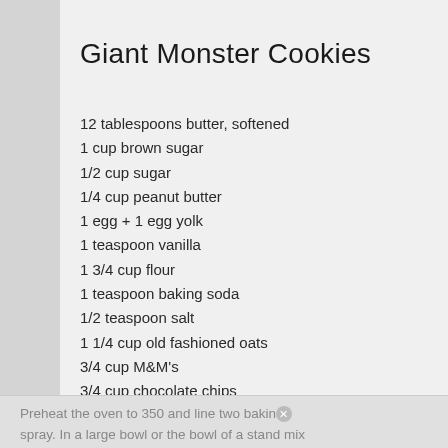Giant Monster Cookies
12 tablespoons butter, softened
1 cup brown sugar
1/2 cup sugar
1/4 cup peanut butter
1 egg + 1 egg yolk
1 teaspoon vanilla
1 3/4 cup flour
1 teaspoon baking soda
1/2 teaspoon salt
1 1/4 cup old fashioned oats
3/4 cup M&M's
3/4 cup chocolate chips
1/2 cup shredded coconut
Preheat the oven to 350 and line two baking sheets with parchment paper or cooking spray. In a large bowl or the bowl of a stand mix